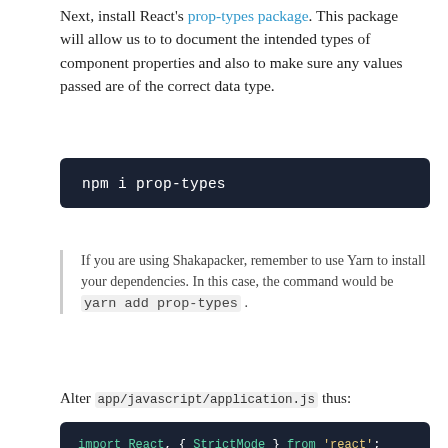Next, install React's prop-types package. This package will allow us to to document the intended types of component properties and also to make sure any values passed are of the correct data type.
[Figure (screenshot): Dark code block showing: npm i prop-types]
If you are using Shakapacker, remember to use Yarn to install your dependencies. In this case, the command would be yarn add prop-types .
Alter app/javascript/application.js thus:
[Figure (screenshot): Dark code block showing JavaScript import statements and createRoot usage]